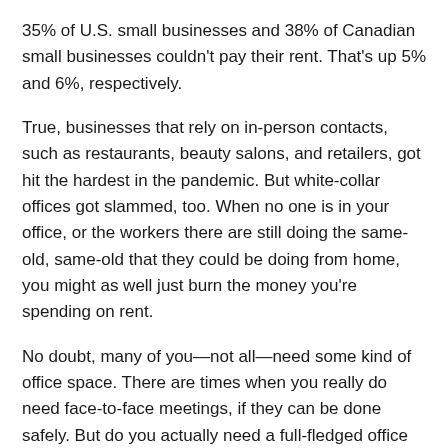35% of U.S. small businesses and 38% of Canadian small businesses couldn't pay their rent. That's up 5% and 6%, respectively.
True, businesses that rely on in-person contacts, such as restaurants, beauty salons, and retailers, got hit the hardest in the pandemic. But white-collar offices got slammed, too. When no one is in your office, or the workers there are still doing the same-old, same-old that they could be doing from home, you might as well just burn the money you're spending on rent.
No doubt, many of you—not all—need some kind of office space. There are times when you really do need face-to-face meetings, if they can be done safely. But do you actually need a full-fledged office building when a conference room for meetings twice per week will suffice?